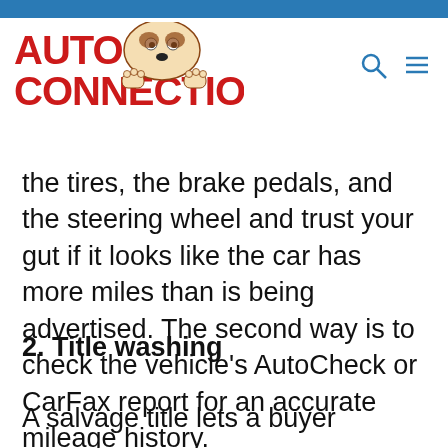[Figure (logo): Auto Connection logo with cartoon dog peeking over text in red bold uppercase letters]
the tires, the brake pedals, and the steering wheel and trust your gut if it looks like the car has more miles than is being advertised. The second way is to check the vehicle's AutoCheck or CarFax report for an accurate mileage history.
2. Title washing
A salvage title lets a buyer